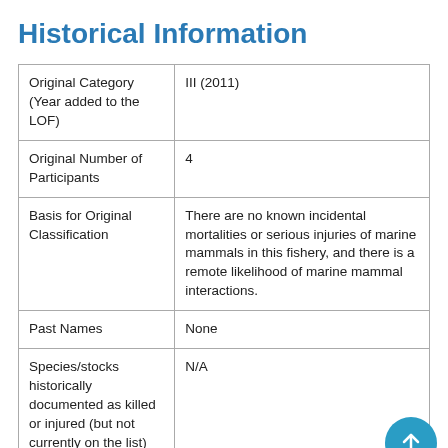Historical Information
| Original Category (Year added to the LOF) | III (2011) |
| Original Number of Participants | 4 |
| Basis for Original Classification | There are no known incidental mortalities or serious injuries of marine mammals in this fishery, and there is a remote likelihood of marine mammal interactions. |
| Past Names | None |
| Species/stocks historically documented as killed or injured (but not currently on the list) | N/A |
Timeline of Changes